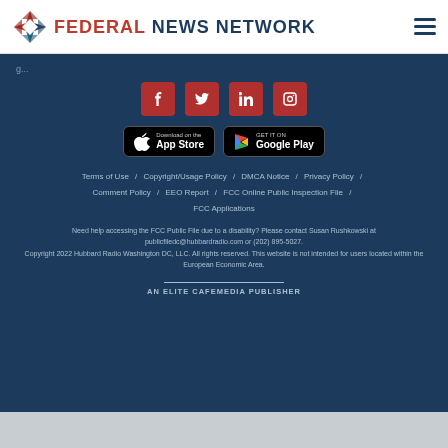Federal News Network
[Figure (logo): Federal News Network logo with stylized icon and text]
Social media links: Facebook, Twitter, LinkedIn, Instagram
[Figure (infographic): App Store and Google Play download badges]
Terms of Use / Copyright/Usage Policy / DMCA Notice / Privacy Policy / Comment Policy / EEO Report / FCC Online Public Inspection File / FCC Applications
Need help accessing the FCC Public File due to a disability? Please contact Susan Rushkowski at publicfiledc@hubbardradio.com or (202) 895-5027.
Copyright 2022 Hubbard Radio Washington DC, LLC. All rights reserved. This website is not intended for users located within the European Economic Area.
AN ELITE CAFEMEDIA PUBLISHER